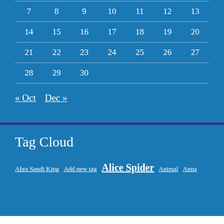| 7 | 8 | 9 | 10 | 11 | 12 | 13 |
| 14 | 15 | 16 | 17 | 18 | 19 | 20 |
| 21 | 22 | 23 | 24 | 25 | 26 | 27 |
| 28 | 29 | 30 |  |  |  |  |
« Oct   Dec »
Tag Cloud
Abra Sandi King  Add new tag  Alice Spider  Animal  Anna